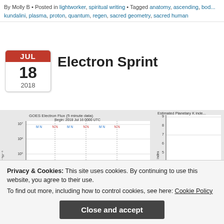By Molly B • Posted in lightworker, spiritual writing • Tagged anatomy, ascending, bod... kundalini, plasma, proton, quantum, regen, sacred geometry, sacred human
Electron Sprint
[Figure (screenshot): GOES Electron Flux 5 minute data chart showing particle flux vs time beginning 2018 Jul 16 0000 UTC, with red, blue, orange, and purple lines on a logarithmic scale]
[Figure (bar-chart): Estimated Planetary K index bar chart showing Kp index values with green bars, values ranging 1-9, partial view]
Privacy & Cookies: This site uses cookies. By continuing to use this website, you agree to their use.
To find out more, including how to control cookies, see here: Cookie Policy
Close and accept